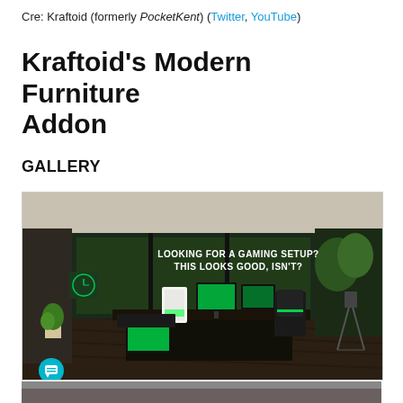Cre: Kraftoid (formerly PocketKent) (Twitter, YouTube)
Kraftoid's Modern Furniture Addon
GALLERY
[Figure (screenshot): In-game screenshot of a modern gaming room in a video game, showing a dark-themed room with green-accented furniture including a gaming desk, monitors, a gaming chair, a PC tower, a laptop, and a plant. Text overlay reads 'LOOKING FOR A GAMING SETUP? THIS LOOKS GOOD, ISN'T?' A chat bubble icon with the number 2 appears in the bottom-left corner.]
[Figure (screenshot): Partial screenshot visible at bottom of page, appears to show another in-game view.]